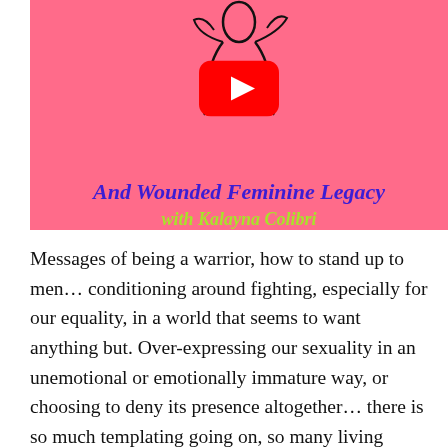[Figure (screenshot): YouTube video thumbnail with pink background showing 'And Wounded Feminine Legacy with Kalayna Colibri' text, with a YouTube play button overlay and a sketch of a woman figure.]
Messages of being a warrior, how to stand up to men… conditioning around fighting, especially for our equality, in a world that seems to want anything but. Over-expressing our sexuality in an unemotional or emotionally immature way, or choosing to deny its presence altogether… there is so much templating going on, so many living examples of how to become a matriarch – strong, unsentimental, yet very often unfeeling too. All of this is an expression of the pain and wounds inflicted by a patriarchal culture, yes, and it is all a reflection of how a part of each of us has chosen to be and act in reaction to it. A cover that times as chosen: and hold...